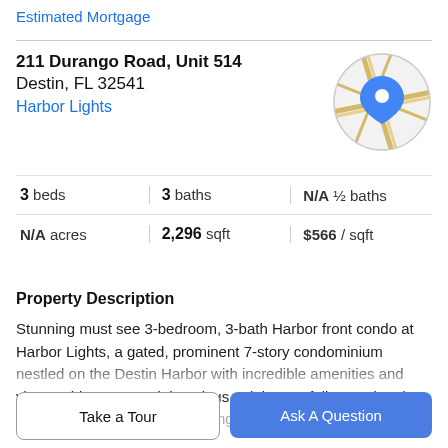Estimated Mortgage
211 Durango Road, Unit 514
Destin, FL 32541
Harbor Lights
[Figure (map): Circular map thumbnail showing street map with blue location pin marker]
3 beds   3 baths   N/A ½ baths
N/A acres   2,296 sqft   $566 / sqft
Property Description
Stunning must see 3-bedroom, 3-bath Harbor front condo at Harbor Lights, a gated, prominent 7-story condominium nestled on the Destin Harbor with incredible amenities and views. This renovated, luxurious unit is tastefully appointed with contemporary decor. Pricing includes a boat slip with
Take a Tour
Ask A Question